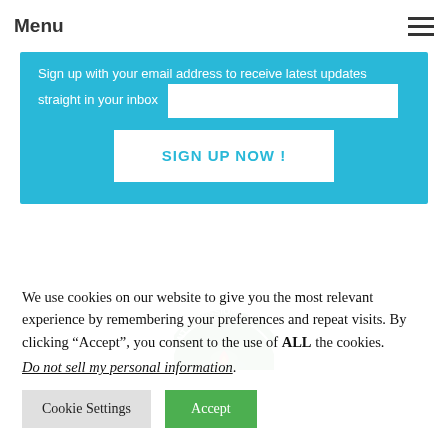Menu
Sign up with your email address to receive latest updates straight in your inbox
SIGN UP NOW !
[Figure (logo): Circular green badge/seal with text 'NT ADMISSIONS A' and a red flame icon in the center]
We use cookies on our website to give you the most relevant experience by remembering your preferences and repeat visits. By clicking “Accept”, you consent to the use of ALL the cookies. Do not sell my personal information.
Cookie Settings
Accept